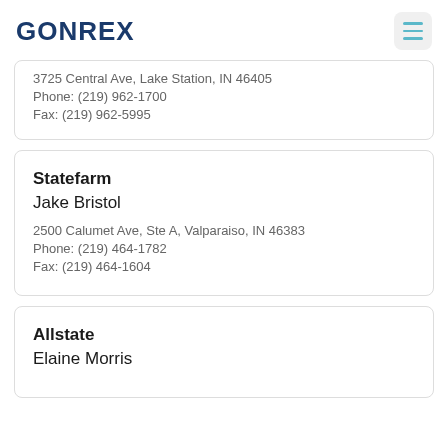GONREX
3725 Central Ave, Lake Station, IN 46405
Phone: (219) 962-1700
Fax: (219) 962-5995
Statefarm
Jake Bristol
2500 Calumet Ave, Ste A, Valparaiso, IN 46383
Phone: (219) 464-1782
Fax: (219) 464-1604
Allstate
Elaine Morris